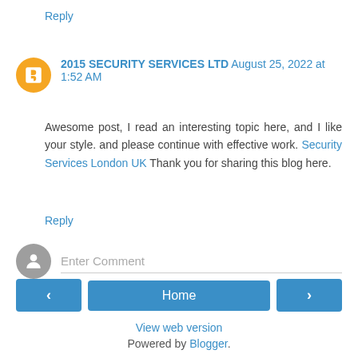Reply
2015 SECURITY SERVICES LTD August 25, 2022 at 1:52 AM
Awesome post, I read an interesting topic here, and I like your style. and please continue with effective work. Security Services London UK Thank you for sharing this blog here.
Reply
Enter Comment
Home
View web version
Powered by Blogger.